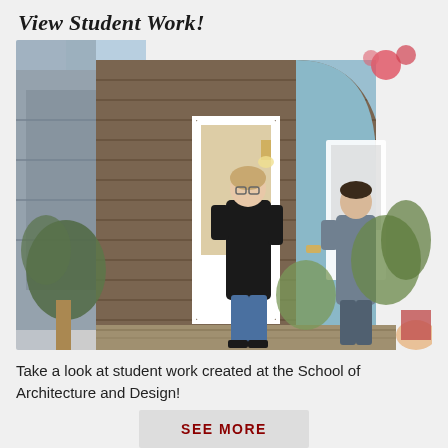View Student Work!
[Figure (photo): Two students standing outside a small architectural structure with wood siding and a light blue curved wall, with a white glass-panel door. One student in black shirt and jeans stands on the porch, another leans against the blue wall. Plants and greenery visible in the foreground and background.]
Take a look at student work created at the School of Architecture and Design!
SEE MORE